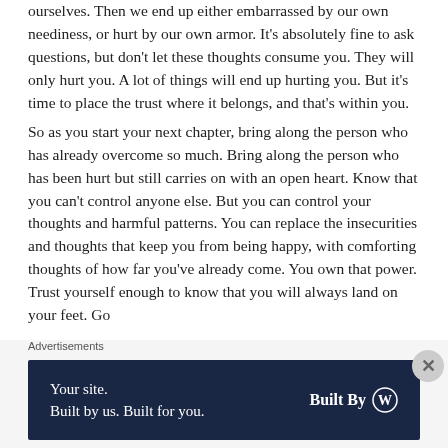ourselves. Then we end up either embarrassed by our own neediness, or hurt by our own armor. It's absolutely fine to ask questions, but don't let these thoughts consume you. They will only hurt you. A lot of things will end up hurting you. But it's time to place the trust where it belongs, and that's within you.
So as you start your next chapter, bring along the person who has already overcome so much. Bring along the person who has been hurt but still carries on with an open heart. Know that you can't control anyone else. But you can control your thoughts and harmful patterns. You can replace the insecurities and thoughts that keep you from being happy, with comforting thoughts of how far you've already come. You own that power. Trust yourself enough to know that you will always land on your feet. Go...
Advertisements
[Figure (other): Advertisement banner with dark navy background. Left side reads 'Your site. Built by us. Built for you.' Right side shows 'Built By' with a WordPress logo circle icon.]